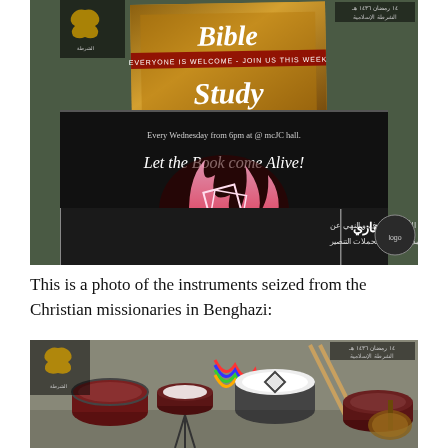[Figure (photo): Photo showing Bible Study promotional posters and a black banner with Arabic text, logos visible. Text on posters includes 'Bible Study', 'EVERYONE IS WELCOME - JOIN US THIS WEEK', 'Every Wednesday from 6pm at @ mcJC hall. Let the Book come Alive!' with flame imagery. Arabic text at bottom references Islamic police and Benghazi.]
This is a photo of the instruments seized from the Christian missionaries in Benghazi:
[Figure (photo): Photo showing musical instruments including drums, a stringed instrument (lute/oud), and other percussion instruments laid out on a surface, with logos visible.]